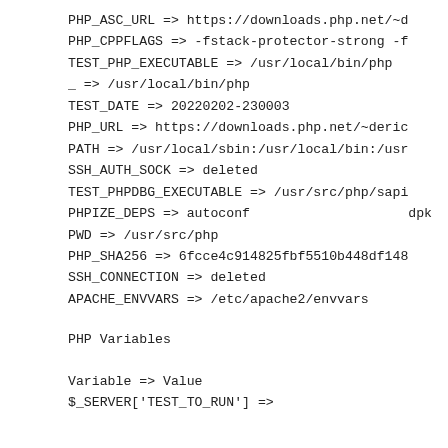PHP_ASC_URL => https://downloads.php.net/~d
PHP_CPPFLAGS => -fstack-protector-strong -f
TEST_PHP_EXECUTABLE => /usr/local/bin/php
_ => /usr/local/bin/php
TEST_DATE => 20220202-230003
PHP_URL => https://downloads.php.net/~deric
PATH => /usr/local/sbin:/usr/local/bin:/usr
SSH_AUTH_SOCK => deleted
TEST_PHPDBG_EXECUTABLE => /usr/src/php/sapi
PHPIZE_DEPS => autoconf                    dpk
PWD => /usr/src/php
PHP_SHA256 => 6fcce4c914825fbf5510b448df148
SSH_CONNECTION => deleted
APACHE_ENVVARS => /etc/apache2/envvars
PHP Variables
Variable => Value
$ _SERVER['TEST_TO_RUN'] =>